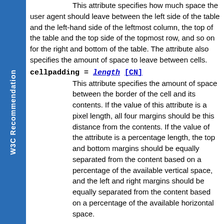W3C Recommendation
This attribute specifies how much space the user agent should leave between the left side of the table and the left-hand side of the leftmost column, the top of the table and the top side of the topmost row, and so on for the right and bottom of the table. The attribute also specifies the amount of space to leave between cells.
cellpadding = length [CN]
This attribute specifies the amount of space between the border of the cell and its contents. If the value of this attribute is a pixel length, all four margins should be this distance from the contents. If the value of the attribute is a percentage length, the top and bottom margins should be equally separated from the content based on a percentage of the available vertical space, and the left and right margins should be equally separated from the content based on a percentage of the available horizontal space.
These two attributes control spacing between and within cells. The following illustration explains how they relate: